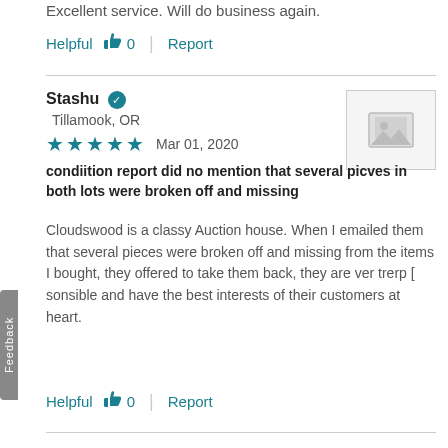Excellent service. Will do business again.
Helpful 👍 0   Report
Stashu ✓
Tillamook, OR
★★★★★   Mar 01, 2020
condiition report did no mention that several picves in both lots were broken off and missing
Cloudswood is a classy Auction house. When I emailed them that several pieces were broken off and missing from the items I bought, they offered to take them back, they are ver trerp [ sonsible and have the best interests of their customers at heart.
Helpful 👍 0   Report